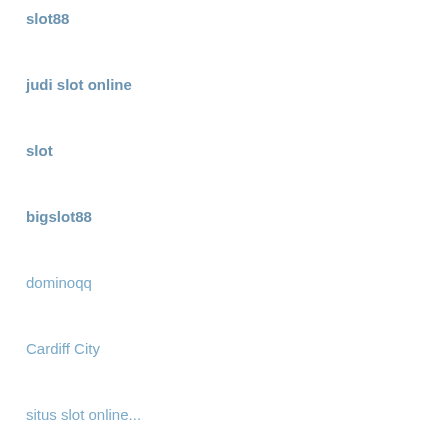slot88
judi slot online
slot
bigslot88
dominoqq
Cardiff City
situs slot online...